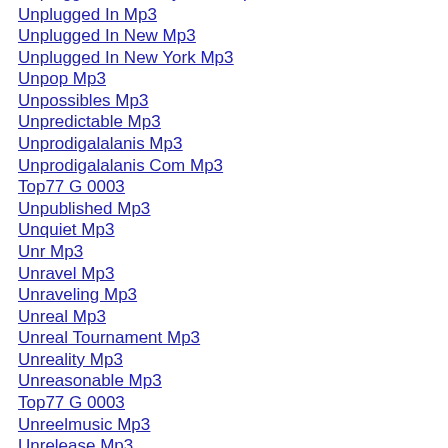Unplugged And Many More Mp3
Unplugged In Mp3
Unplugged In New Mp3
Unplugged In New York Mp3
Unpop Mp3
Unpossibles Mp3
Unpredictable Mp3
Unprodigalalanis Mp3
Unprodigalalanis Com Mp3
Top77 G 0003
Unpublished Mp3
Unquiet Mp3
Unr Mp3
Unravel Mp3
Unraveling Mp3
Unreal Mp3
Unreal Tournament Mp3
Unreality Mp3
Unreasonable Mp3
Top77 G 0003
Unreelmusic Mp3
Unrelease Mp3
Unreleased Mp3
Unreleased Album Mp3
Unreleased Demo Mp3